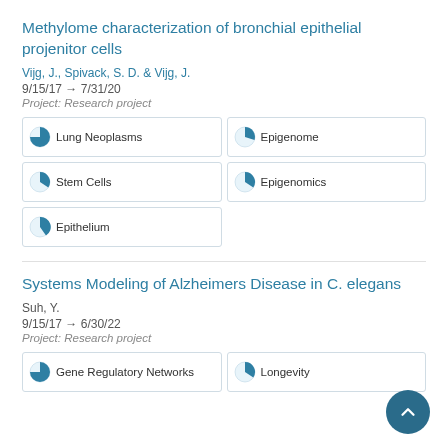Methylome characterization of bronchial epithelial projenitor cells
Vijg, J., Spivack, S. D. & Vijg, J.
9/15/17 → 7/31/20
Project: Research project
Lung Neoplasms
Epigenome
Stem Cells
Epigenomics
Epithelium
Systems Modeling of Alzheimers Disease in C. elegans
Suh, Y.
9/15/17 → 6/30/22
Project: Research project
Gene Regulatory Networks
Longevity